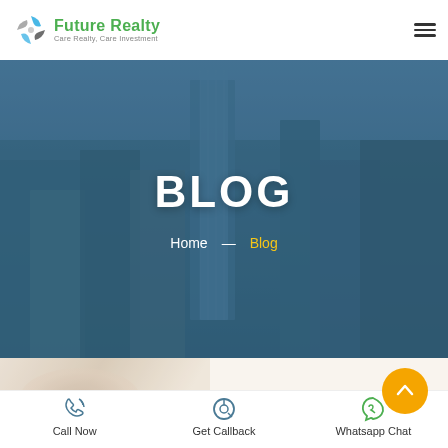[Figure (logo): Future Realty logo with teal pinwheel icon, green text 'Future Realty' and grey tagline 'Care Realty, Care Investment']
[Figure (photo): City skyline with tall modern glass skyscrapers under a blue-tinted overlay with 'BLOG' heading and breadcrumb navigation]
BLOG
Home — Blog
[Figure (photo): Blurred close-up of hands, warm beige tones, partially visible at bottom of page]
Call Now
Get Callback
Whatsapp Chat